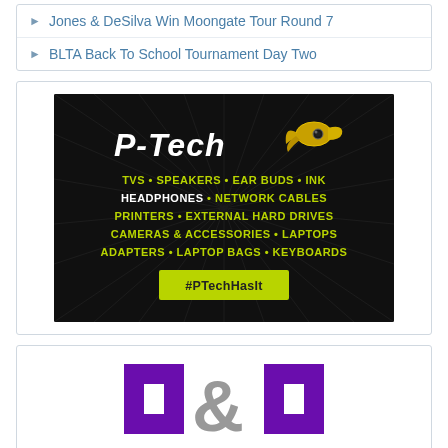Jones & DeSilva Win Moongate Tour Round 7
BLTA Back To School Tournament Day Two
[Figure (illustration): P-Tech electronics advertisement on dark background. Shows P-Tech logo with rocket icon, product categories in yellow-green text: TVS, SPEAKERS, EAR BUDS, INK, HEADPHONES, NETWORK CABLES, PRINTERS, EXTERNAL HARD DRIVES, CAMERAS & ACCESSORIES, LAPTOPS, ADAPTERS, LAPTOP BAGS, KEYBOARDS. Yellow-green button with #PTechHasIt.]
[Figure (logo): H&H logo in purple and grey large block letters]